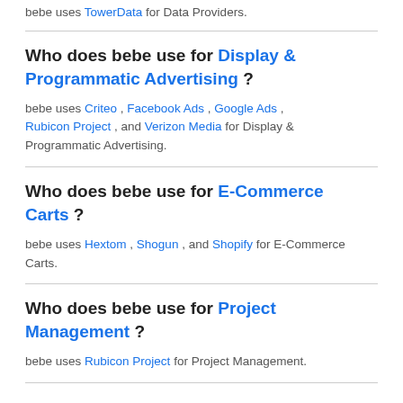bebe uses TowerData for Data Providers.
Who does bebe use for Display & Programmatic Advertising ?
bebe uses Criteo , Facebook Ads , Google Ads , Rubicon Project , and Verizon Media for Display & Programmatic Advertising.
Who does bebe use for E-Commerce Carts ?
bebe uses Hextom , Shogun , and Shopify for E-Commerce Carts.
Who does bebe use for Project Management ?
bebe uses Rubicon Project for Project Management.